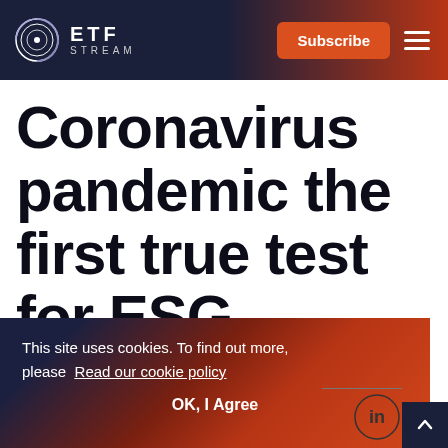ETF STREAM | Subscribe
Coronavirus pandemic the first true test for ESG
This site uses cookies. To find out more, please Read our cookie policy
OK, I Agree